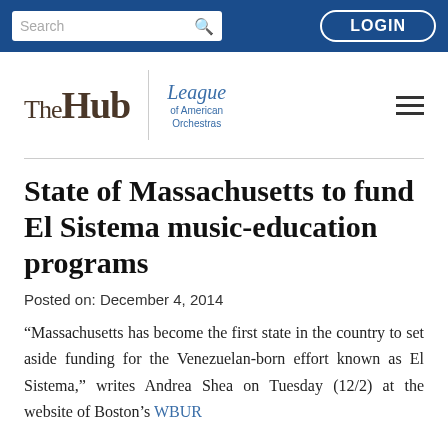Search | LOGIN
[Figure (logo): The Hub | League of American Orchestras logo with hamburger menu]
State of Massachusetts to fund El Sistema music-education programs
Posted on: December 4, 2014
“Massachusetts has become the first state in the country to set aside funding for the Venezuelan-born effort known as El Sistema,” writes Andrea Shea on Tuesday (12/2) at the website of Boston’s WBUR